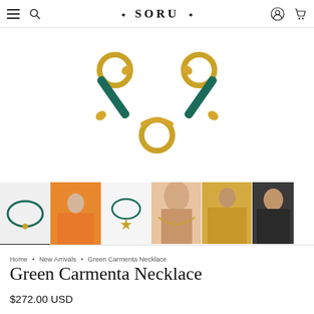SORU — navigation header with menu, search, account, cart icons
[Figure (photo): Close-up product photo of a gold and dark green enamel chain necklace clasp/connector piece against white background, showing two tubular green enamel bars with gold ends connecting to circular gold rings]
[Figure (photo): Thumbnail strip of 6 product photos: necklace flat lay, woman in orange dress wearing necklace, necklace with star pendant, close-up on model's neck, woman in yellow print dress, partial view of another model]
Home • New Arrivals • Green Carmenta Necklace
Green Carmenta Necklace
$272.00 USD